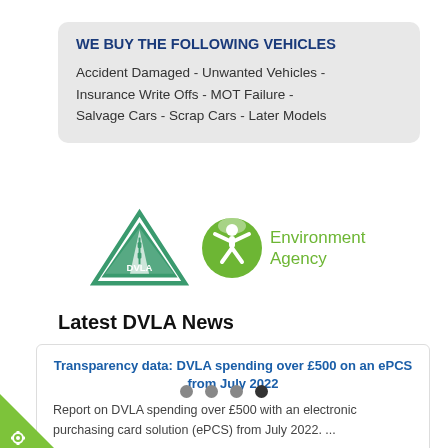WE BUY THE FOLLOWING VEHICLES
Accident Damaged - Unwanted Vehicles - Insurance Write Offs - MOT Failure - Salvage Cars - Scrap Cars - Later Models
[Figure (logo): DVLA triangle logo and Environment Agency green logo side by side]
Latest DVLA News
Transparency data: DVLA spending over £500 on an ePCS from July 2022
Report on DVLA spending over £500 with an electronic purchasing card solution (ePCS) from July 2022. ...
[Figure (other): Carousel navigation dots, four circles, last one dark]